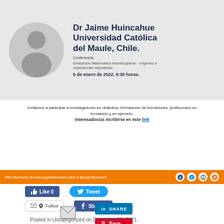[Figure (photo): Event announcement banner with circular headshot photo of Dr Jaime Huincahue, name, university, conference details and date. Gray background.]
Invitamos a participar a investigadores en didáctica, formadores de formadores, profesorado en formación y en ejercicio.
Interesados/as incribirse en este link
[Figure (infographic): Orange bar with website and social media information: www.soyprofesorsach.coach.cl @soyprofesorsach with social media icons]
Like 0   Tweet   Follow   Share 0   SHARE   Save
Posted in Uncategorized on December 23, 2021.
READ THE WORLD